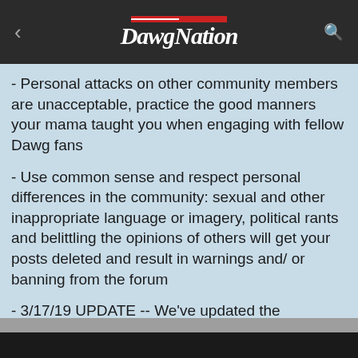DawgNation
- Personal attacks on other community members are unacceptable, practice the good manners your mama taught you when engaging with fellow Dawg fans
- Use common sense and respect personal differences in the community: sexual and other inappropriate language or imagery, political rants and belittling the opinions of others will get your posts deleted and result in warnings and/ or banning from the forum
- 3/17/19 UPDATE -- We've updated the permissions for our "Football" and "Commit to the G" recruiting message boards. We aim to be the best free board out there and that has not changed. We do now ask that all of you good people register as a member of our forum in order to see the sugar that is falling from our skies, so to speak.
Sign In    Register